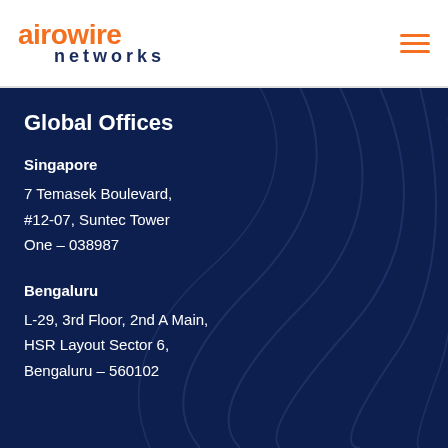[Figure (logo): Airowire Networks logo with orange text 'airowire' and dark blue 'networks' below, with orange hamburger menu icon on right]
Global Offices
Singapore
7 Temasek Boulevard,
#12-07, Suntec Tower One  – 038987
Bengaluru
L-29, 3rd Floor, 2nd A Main,
HSR Layout Sector 6,
Bengaluru – 560102